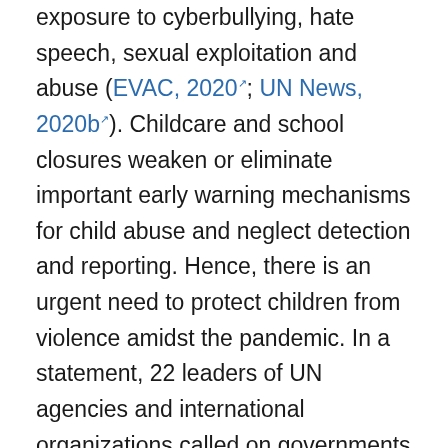exposure to cyberbullying, hate speech, sexual exploitation and abuse (EVAC, 2020; UN News, 2020b). Childcare and school closures weaken or eliminate important early warning mechanisms for child abuse and neglect detection and reporting. Hence, there is an urgent need to protect children from violence amidst the pandemic. In a statement, 22 leaders of UN agencies and international organizations called on governments to provide child protection case management and emergency alternative care arrangements, and to ensure that all virus containment measures include social protection systems that support children's rights (EVAC, 2020).